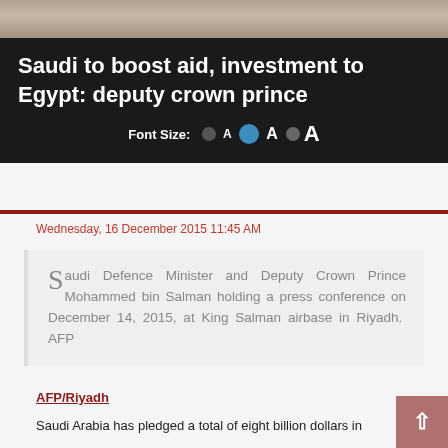[Figure (photo): Photo strip at top of page showing people]
Saudi to boost aid, investment to Egypt: deputy crown prince
Font Size: A A A
Wednesday, 16 December 2015 11:45 AM
Saudi Defence Minister and Deputy Crown Prince Mohammed bin Salman holding a press conference on December 14, 2015, at King Salman airbase in Riyadh. AFP
AFP/Riyadh
Saudi Arabia has pledged a total of eight billion dollars in